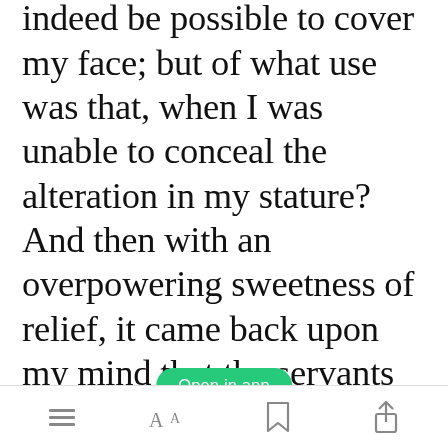horror struck. It might indeed be possible to cover my face; but of what use was that, when I was unable to conceal the alteration in my stature? And then with an overpowering sweetness of relief, it came back upon my mind that the servants were already used to the coming and going of my second self. I had soon dressed, as well as I was able, in clothes of my own size: had soon passed through the house.
[Figure (other): Green 'Open in app' button overlay on the text]
Navigation bar with list icon, AA font icon, bookmark icon, and share icon